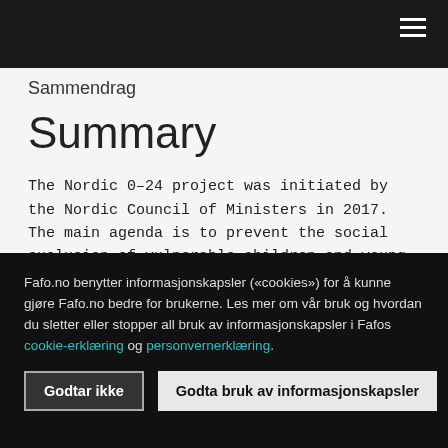Sammendrag
Summary
The Nordic 0–24 project was initiated by the Nordic Council of Ministers in 2017. The main agenda is to prevent the social exclusion of vulnerable children and young people, and to prevent dropout from school and future marginalisation in the labour market. The
Fafo.no benytter informasjonskapsler («cookies») for å kunne gjøre Fafo.no bedre for brukerne. Les mer om vår bruk og hvordan du sletter eller stopper all bruk av informasjonskapsler i Fafos cookie-erklæring og personvernerklæring.
Godtar ikke  Godta bruk av informasjonskapsler